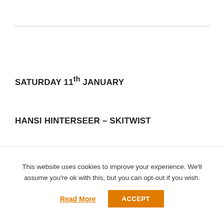SATURDAY 11th JANUARY
HANSI HINTERSEER – SKITWIST
We have posted it before and we'll likely post it again.
Love it!
[Figure (screenshot): Dark/black video embed thumbnail]
This website uses cookies to improve your experience. We'll assume you're ok with this, but you can opt-out if you wish.
Read More
ACCEPT